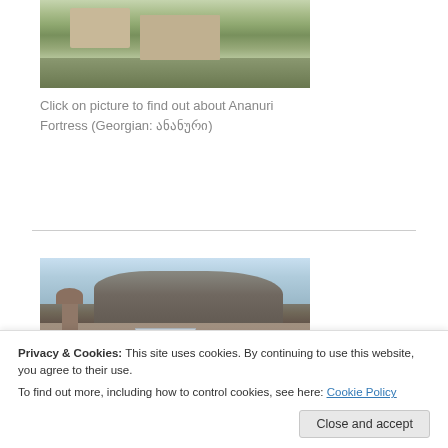[Figure (photo): Aerial view of Ananuri Fortress complex with stone buildings and greenery on a hillside]
Click on picture to find out about Ananuri Fortress (Georgian: ანანური)
[Figure (photo): View of Tbilisi old town with Narikala fortress on the rocky hill above traditional buildings]
Privacy & Cookies: This site uses cookies. By continuing to use this website, you agree to their use.
To find out more, including how to control cookies, see here: Cookie Policy